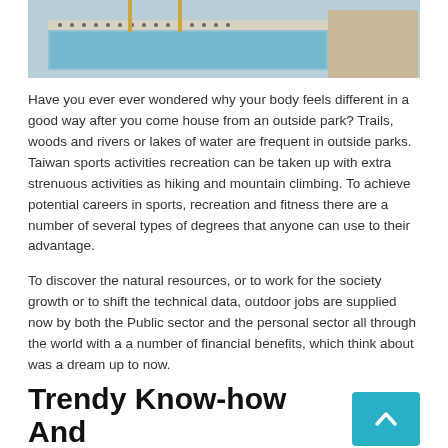[Figure (photo): Photo of an outdoor swimming pool or water park area with tiled edges, handrails, and stone surroundings]
Have you ever ever wondered why your body feels different in a good way after you come house from an outside park? Trails, woods and rivers or lakes of water are frequent in outside parks. Taiwan sports activities recreation can be taken up with extra strenuous activities as hiking and mountain climbing. To achieve potential careers in sports, recreation and fitness there are a number of several types of degrees that anyone can use to their advantage.
To discover the natural resources, or to work for the society growth or to shift the technical data, outdoor jobs are supplied now by both the Public sector and the personal sector all through the world with a a number of financial benefits, which think about was a dream up to now.
Trendy Know-how And